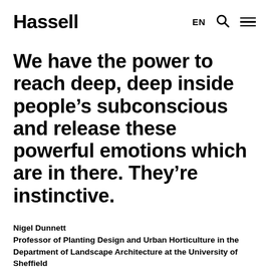Hassell  EN
We have the power to reach deep, deep inside people’s subconscious and release these powerful emotions which are in there. They’re instinctive.
Nigel Dunnett
Professor of Planting Design and Urban Horticulture in the Department of Landscape Architecture at the University of Sheffield